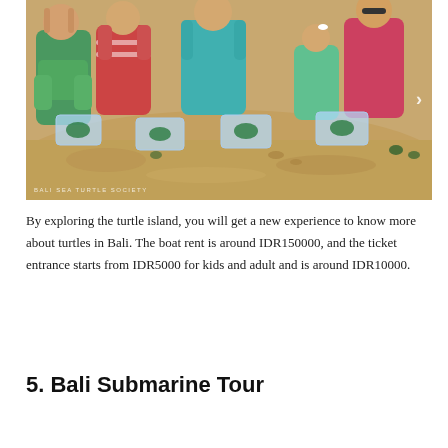[Figure (photo): Children and adults kneeling on a sandy beach, holding clear plastic containers with small sea turtles, preparing to release them. Watermark reads 'BALI SEA TURTLE SOCIETY'. Navigation arrow visible on the right side.]
By exploring the turtle island, you will get a new experience to know more about turtles in Bali. The boat rent is around IDR150000, and the ticket entrance starts from IDR5000 for kids and adult and is around IDR10000.
5. Bali Submarine Tour